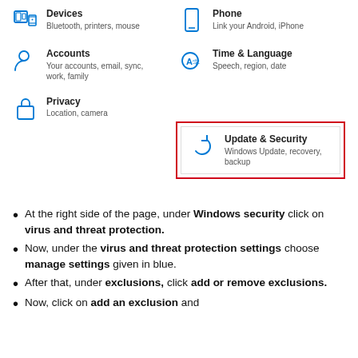[Figure (screenshot): Windows Settings page showing settings categories: Devices (Bluetooth, printers, mouse), Phone (Link your Android, iPhone), Accounts (Your accounts, email, sync, work, family), Time & Language (Speech, region, date), Privacy (Location, camera), and Update & Security (Windows Update, recovery, backup) highlighted with a red border box.]
At the right side of the page, under Windows security click on virus and threat protection.
Now, under the virus and threat protection settings choose manage settings given in blue.
After that, under exclusions, click add or remove exclusions.
Now, click on add an exclusion and